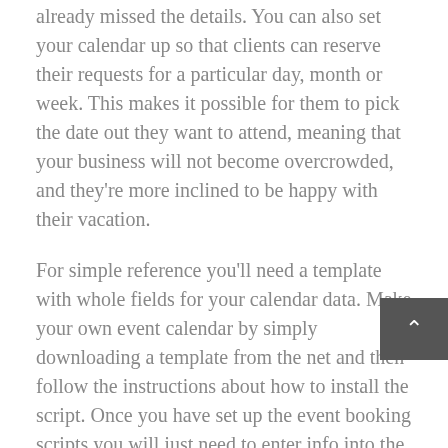already missed the details. You can also set your calendar up so that clients can reserve their requests for a particular day, month or week. This makes it possible for them to pick the date out they want to attend, meaning that your business will not become overcrowded, and they're more inclined to be happy with their vacation.
For simple reference you'll need a template with whole fields for your calendar data. Make your own event calendar by simply downloading a template from the net and then follow the instructions about how to install the script. Once you have set up the event booking scripts you will just need to enter info into the text boxes and then click the print button. You can even edit the text boxes as many times as needed until you get the exact set up and look that you would like. After printing the calendar you'll need to cut and paste all of the details that you entered in the calendar into the template. This is followed by saving the calendar on your preferred format.
The internet calendar booking software also comes with a